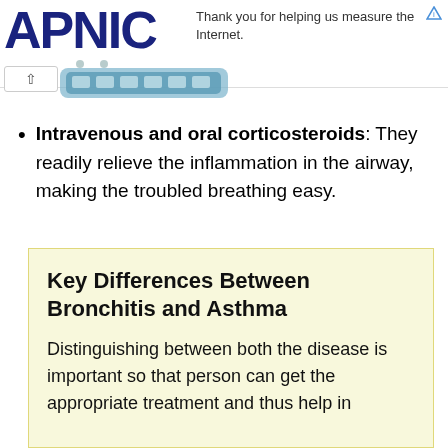APNIC — Thank you for helping us measure the Internet.
[Figure (illustration): Cartoon illustration of a stethoscope or medical instrument in blue tones]
Intravenous and oral corticosteroids: They readily relieve the inflammation in the airway, making the troubled breathing easy.
Key Differences Between Bronchitis and Asthma
Distinguishing between both the disease is important so that person can get the appropriate treatment and thus help in